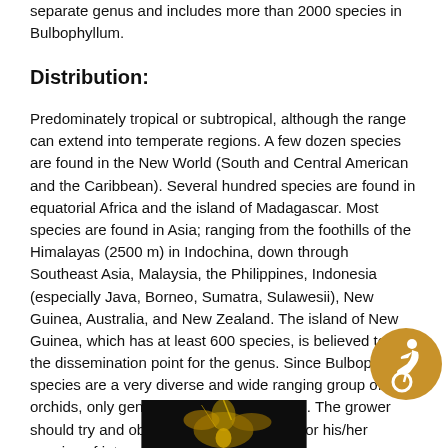separate genus and includes more than 2000 species in Bulbophyllum.
Distribution:
Predominately tropical or subtropical, although the range can extend into temperate regions. A few dozen species are found in the New World (South and Central American and the Caribbean). Several hundred species are found in equatorial Africa and the island of Madagascar. Most species are found in Asia; ranging from the foothills of the Himalayas (2500 m) in Indochina, down through Southeast Asia, Malaysia, the Philippines, Indonesia (especially Java, Borneo, Sumatra, Sulawesii), New Guinea, Australia, and New Zealand. The island of New Guinea, which has at least 600 species, is believed to be the dissemination point for the genus. Since Bulbophyllum species are a very diverse and wide ranging group of orchids, only general culture can be given. The grower should try and obtain habitat information for his/her species of interest.
[Figure (photo): Partial photo of an orchid flower, dark background with golden/yellow tones, visible at bottom center of page]